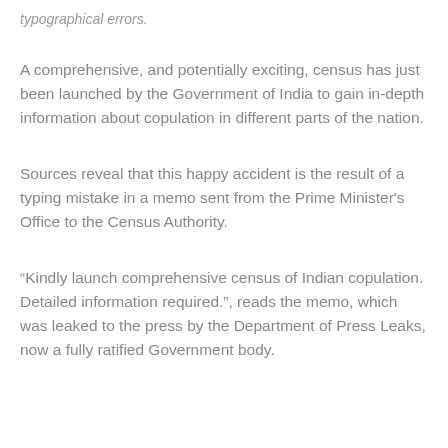typographical errors.
A comprehensive, and potentially exciting, census has just been launched by the Government of India to gain in-depth information about copulation in different parts of the nation.
Sources reveal that this happy accident is the result of a typing mistake in a memo sent from the Prime Minister's Office to the Census Authority.
“Kindly launch comprehensive census of Indian copulation. Detailed information required.”, reads the memo, which was leaked to the press by the Department of Press Leaks, now a fully ratified Government body.